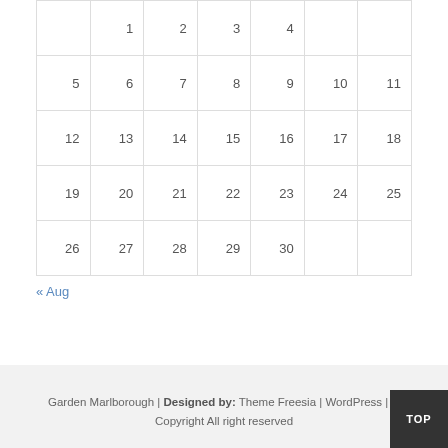|  | 1 | 2 | 3 | 4 |
| 5 | 6 | 7 | 8 | 9 | 10 | 11 |
| 12 | 13 | 14 | 15 | 16 | 17 | 18 |
| 19 | 20 | 21 | 22 | 23 | 24 | 25 |
| 26 | 27 | 28 | 29 | 30 |  |  |
« Aug
Garden Marlborough | Designed by: Theme Freesia | WordPress | © Copyright All right reserved